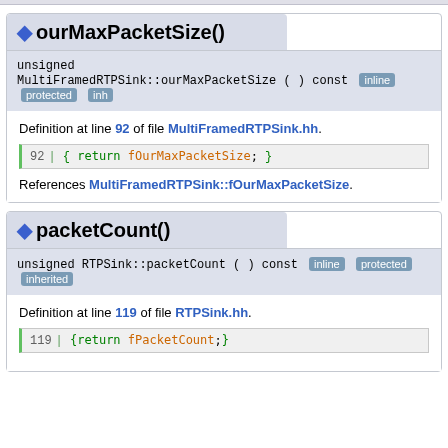ourMaxPacketSize()
unsigned MultiFramedRTPSink::ourMaxPacketSize ( ) const  [inline] [protected] [inh...]
Definition at line 92 of file MultiFramedRTPSink.hh.
References MultiFramedRTPSink::fOurMaxPacketSize.
packetCount()
unsigned RTPSink::packetCount ( ) const  [inline] [protected] [inherited]
Definition at line 119 of file RTPSink.hh.